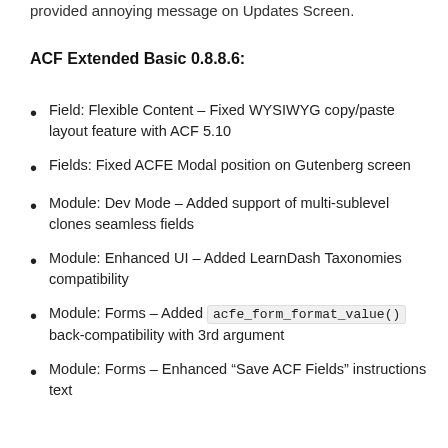provided annoying message on Updates Screen.
ACF Extended Basic 0.8.8.6:
Field: Flexible Content – Fixed WYSIWYG copy/paste layout feature with ACF 5.10
Fields: Fixed ACFE Modal position on Gutenberg screen
Module: Dev Mode – Added support of multi-sublevel clones seamless fields
Module: Enhanced UI – Added LearnDash Taxonomies compatibility
Module: Forms – Added acfe_form_format_value() back-compatibility with 3rd argument
Module: Forms – Enhanced "Save ACF Fields" instructions text